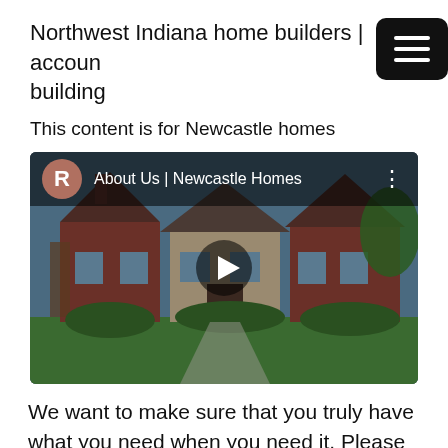Northwest Indiana home builders | accoun building
This content is for Newcastle homes
[Figure (screenshot): YouTube video thumbnail showing a large brick and stone home. Video title reads 'About Us | Newcastle Homes'. A circular avatar with the letter R is shown in the top left. A play button is centered on the image.]
We want to make sure that you truly have what you need when you need it. Please give us a call or come by and let it show you what we can